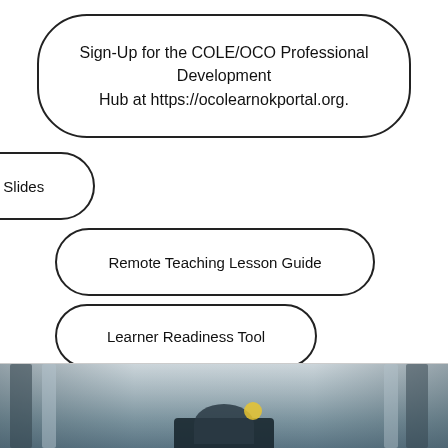Sign-Up for the COLE/OCO Professional Development Hub at https://ocolearnokportal.org.
Session Slides
Remote Teaching Lesson Guide
Learner Readiness Tool
Access On-Demand Recording
[Figure (photo): Blurred background photo showing a person or object, dark silhouette visible at bottom, partial view cropped at page bottom]